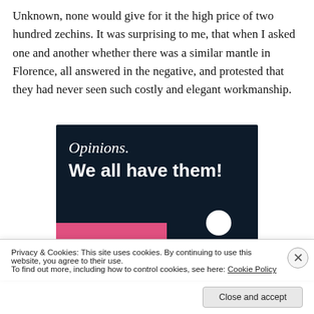Unknown, none would give for it the high price of two hundred zechins. It was surprising to me, that when I asked one and another whether there was a similar mantle in Florence, all answered in the negative, and protested that they had never seen such costly and elegant workmanship.
[Figure (screenshot): Advertisement banner with dark navy background. Text reads 'Opinions.' in italic white serif font, then 'We all have them!' in bold white sans-serif font. Bottom portion has a pink/magenta bar on the left and a circular white element on the right.]
Privacy & Cookies: This site uses cookies. By continuing to use this website, you agree to their use.
To find out more, including how to control cookies, see here: Cookie Policy
Close and accept